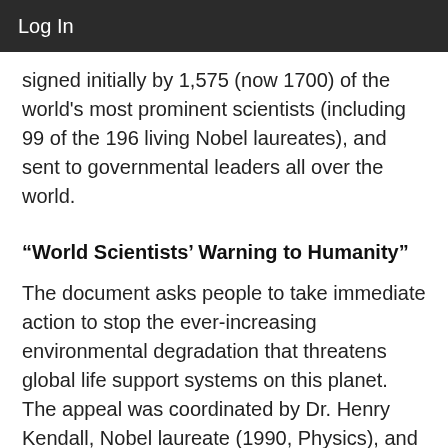Log In
signed initially by 1,575 (now 1700) of the world's most prominent scientists (including 99 of the 196 living Nobel laureates), and sent to governmental leaders all over the world.
“World Scientists’ Warning to Humanity”
The document asks people to take immediate action to stop the ever-increasing environmental degradation that threatens global life support systems on this planet. The appeal was coordinated by Dr. Henry Kendall, Nobel laureate (1990, Physics), and former Chairperson of the Union of Concerned Scientists. This letter to